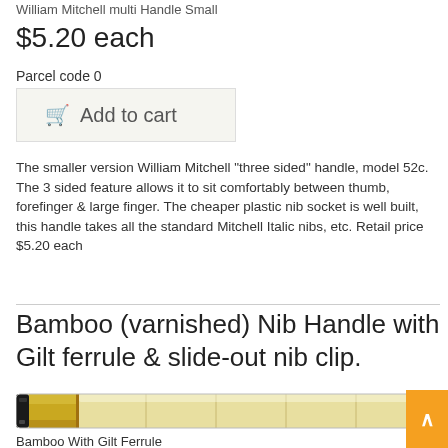William Mitchell multi Handle Small
$5.20 each
Parcel code 0
Add to cart
The smaller version William Mitchell "three sided" handle, model 52c. The 3 sided feature allows it to sit comfortably between thumb, forefinger & large finger. The cheaper plastic nib socket is well built, this handle takes all the standard Mitchell Italic nibs, etc. Retail price $5.20 each
Bamboo (varnished) Nib Handle with Gilt ferrule & slide-out nib clip.
[Figure (photo): Photograph of a bamboo nib handle with gilt (gold-colored) ferrule and slide-out nib clip, shown horizontally.]
Bamboo With Gilt Ferrule